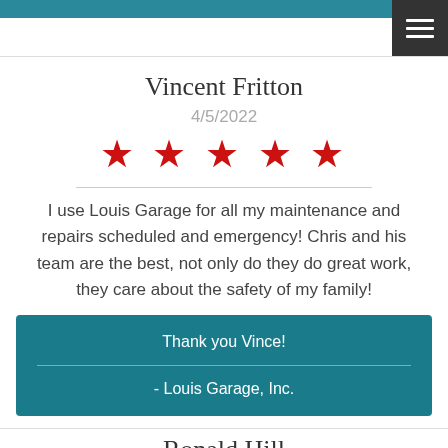Vincent Fritton
4/5/2022
[Figure (other): Five red star rating icons]
I use Louis Garage for all my maintenance and repairs scheduled and emergency! Chris and his team are the best, not only do they do great work, they care about the safety of my family!
Thank you Vince!
- Louis Garage, Inc.
Ronald Hill